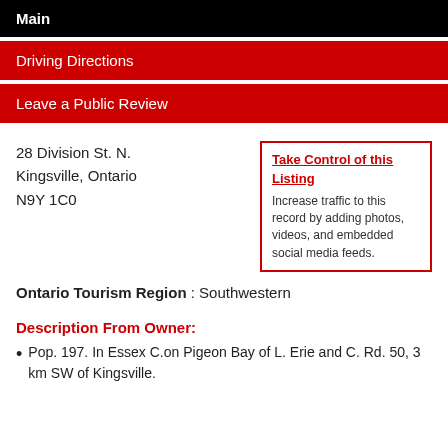Main
Driving Directions
Leave a Public Review
28 Division St. N.
Kingsville, Ontario
N9Y 1C0
Take Control of this Listing
Increase traffic to this record by adding photos, videos, and embedded social media feeds.
Ontario Tourism Region : Southwestern
Description From Owner:
Pop. 197. In Essex C.on Pigeon Bay of L. Erie and C. Rd. 50, 3 km SW of Kingsville.